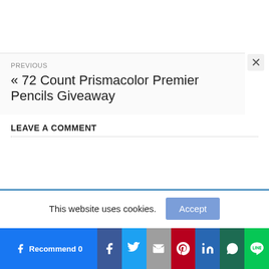PREVIOUS
« 72 Count Prismacolor Premier Pencils Giveaway
LEAVE A COMMENT
This website uses cookies.
[Figure (screenshot): Social sharing bar with Facebook Recommend, Facebook, Twitter, Gmail, Pinterest, LinkedIn, WhatsApp, and LINE buttons]